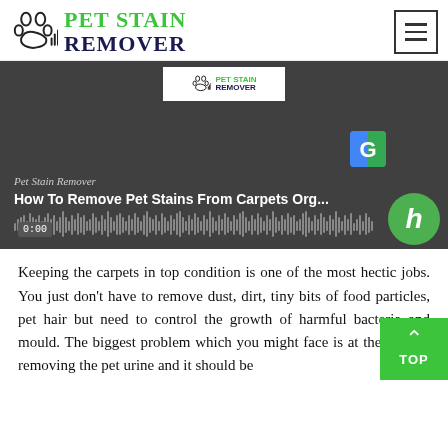PET STAIN REMOVER
[Figure (screenshot): Podcast player embed for 'How To Remove Pet Stains From Carpets Org...' by Pet Stain Remover, showing waveform, timecode 0:00, Google badge, and Hoopla badge on a dark background.]
Keeping the carpets in top condition is one of the most hectic jobs. You just don't have to remove dust, dirt, tiny bits of food particles, pet hair but need to control the growth of harmful bacteria and mould. The biggest problem which you might face is at the time of removing the pet urine and it should be